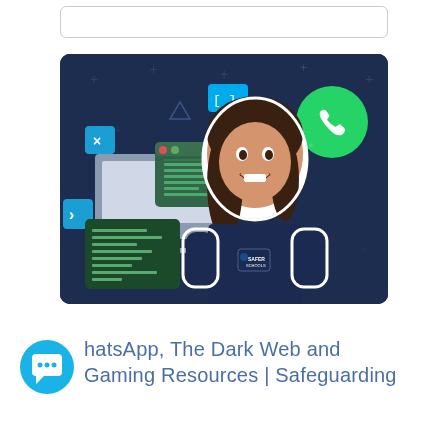[Figure (illustration): A smiling young woman wearing a dark navy Safer Schools t-shirt, set against a dark blue background with floating technology icons including a WhatsApp logo, computer monitor, code editor windows, and decorative plus signs.]
WhatsApp, The Dark Web and Gaming Resources | Safeguarding